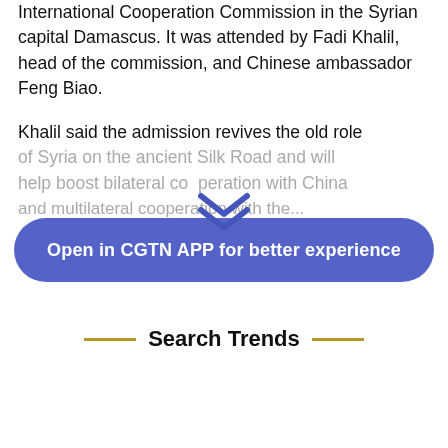International Cooperation Commission in the Syrian capital Damascus. It was attended by Fadi Khalil, head of the commission, and Chinese ambassador Feng Biao.
Khalil said the admission revives the old role of Syria on the ancient Silk Road and will help boost bilateral cooperation with China and multilateral cooperation with the...
[Figure (other): Chevron / down-arrow icon indicating expandable content]
Open in CGTN APP for better experience
Search Trends